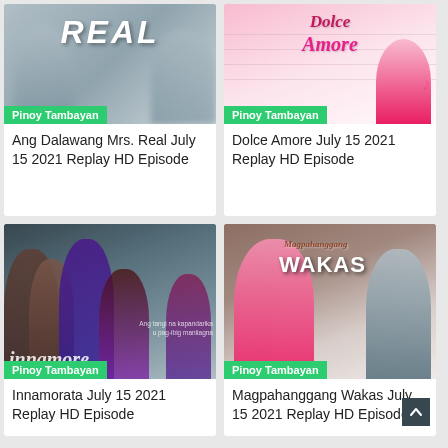[Figure (photo): Thumbnail image for Ang Dalawang Mrs. Real showing title text REAL and blurred person silhouette]
Pinoy Tambayan
Ang Dalawang Mrs. Real July 15 2021 Replay HD Episode
[Figure (photo): Thumbnail image for Dolce Amore showing cursive pink title Dolce Amore and person silhouette]
Pinoy Tambayan
Dolce Amore July 15 2021 Replay HD Episode
[Figure (photo): Thumbnail image for Innamorata showing group of people in dark formal wear with italic title Innamorata]
Pinoy Tambayan
Innamorata July 15 2021 Replay HD Episode
[Figure (photo): Thumbnail image for Magpahanggang Wakas showing couple smiling with title Magpahanggang Wakas]
Pinoy Tambayan
Magpahanggang Wakas July 15 2021 Replay HD Episode